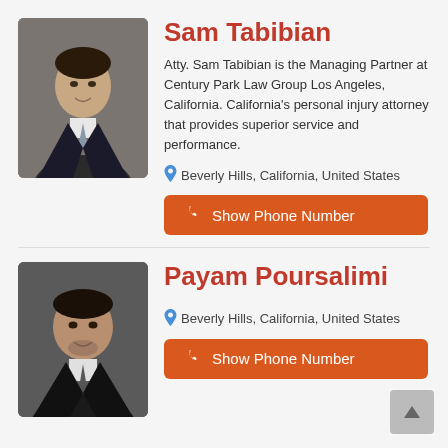[Figure (photo): Professional headshot of Sam Tabibian in a dark suit]
Sam Tabibian
Atty. Sam Tabibian is the Managing Partner at Century Park Law Group Los Angeles, California. California's personal injury attorney that provides superior service and performance.
Beverly Hills, California, United States
Show Phone Number
[Figure (photo): Professional headshot of Payam Poursalimi in a dark suit]
Payam Poursalimi
Beverly Hills, California, United States
Show Phone Number